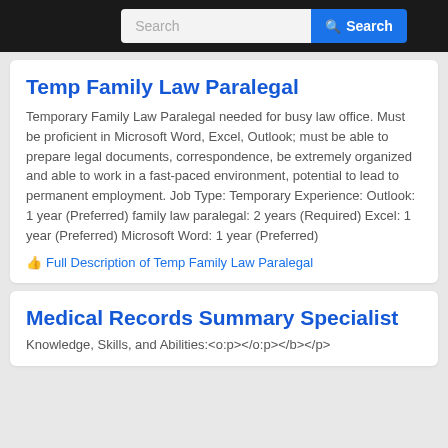Search
Temp Family Law Paralegal
Temporary Family Law Paralegal needed for busy law office. Must be proficient in Microsoft Word, Excel, Outlook; must be able to prepare legal documents, correspondence, be extremely organized and able to work in a fast-paced environment, potential to lead to permanent employment. Job Type: Temporary Experience: Outlook: 1 year (Preferred) family law paralegal: 2 years (Required) Excel: 1 year (Preferred) Microsoft Word: 1 year (Preferred)
Full Description of Temp Family Law Paralegal
Medical Records Summary Specialist
Knowledge, Skills, and Abilities:<o:p></o:p></b></p>